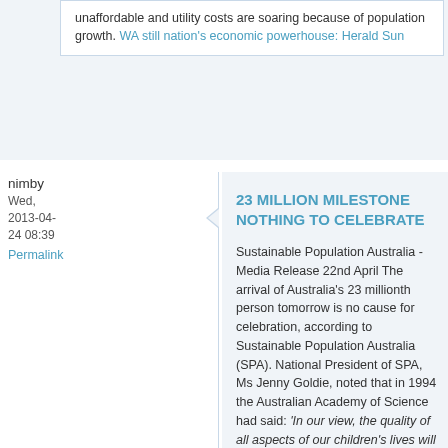unaffordable and utility costs are soaring because of population growth. WA still nation's economic powerhouse: Herald Sun
nimby
Wed, 2013-04-24 08:39
Permalink
23 MILLION MILESTONE NOTHING TO CELEBRATE
Sustainable Population Australia - Media Release 22nd April The arrival of Australia's 23 millionth person tomorrow is no cause for celebration, according to Sustainable Population Australia (SPA). National President of SPA, Ms Jenny Goldie, noted that in 1994 the Australian Academy of Science had said: 'In our view, the quality of all aspects of our children's lives will be maximized if the population of Australia by the mid-21st Century is kept to the low, stable end of the achievable range, i.e. to approximately 23 million.'[i] Ms Goldie says: "But we are not stabilising our numbers. We continue to grow at Third World rates, at 1.7% pa." In 2009, then Secretary of Treasury Ken Henry expressed concern about the addition of another 13 million people by mid-century. He said a 'population expansion of this order has a host of implications for the Australian economy and society; and it raises a number of profound issues for economic policy'. "Yet if 1.7% continues, there will be even more than Secretary Henry